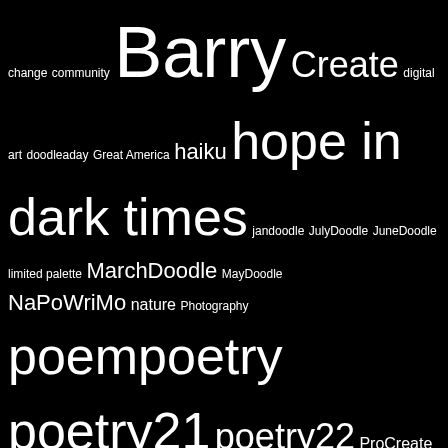change community Barry Create digital art doodleaday Great America haiku hope in dark times jandoodle JulyDoodle JuneDoodle limited palette MarchDoodle MayDoodle NaPoWriMo nature Photography poem poetry poetry21 poetry22 ProCreate Skillshare Slice of Life sol Spring tanka Technology watercolor winter
NPR POLITICS — FOR STUDENT RESEARCH
How Democratic messaging in Pennsylvania is resonating with voters there
SEPTEMBER 4, 2022
Florida Gov. DeSantis leads a nationwide shift to politicizing school board races